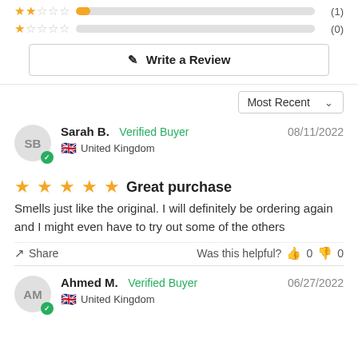[Figure (other): Rating bar rows: 2-star bar with yellow fill and count (1), 1-star bar with no fill and count (0)]
Write a Review
Most Recent ∨
Sarah B.  Verified Buyer  08/11/2022  United Kingdom
★★★★★  Great purchase
Smells just like the original. I will definitely be ordering again and I might even have to try out some of the others
Share  Was this helpful?  👍 0  👎 0
Ahmed M.  Verified Buyer  06/27/2022  United Kingdom